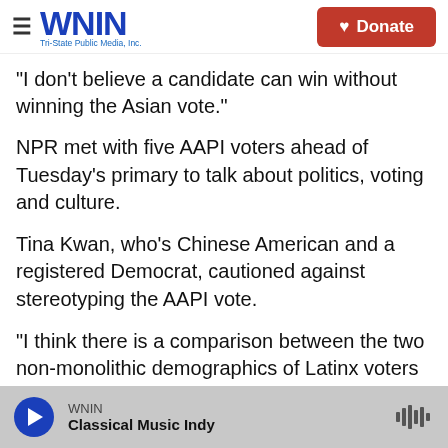WNIN Tri-State Public Media, Inc. | Donate
"I don't believe a candidate can win without winning the Asian vote."
NPR met with five AAPI voters ahead of Tuesday's primary to talk about politics, voting and culture.
Tina Kwan, who's Chinese American and a registered Democrat, cautioned against stereotyping the AAPI vote.
"I think there is a comparison between the two non-monolithic demographics of Latinx voters and AAPI voters, because within those communities is its own diversity," she said.
WNIN | Classical Music Indy